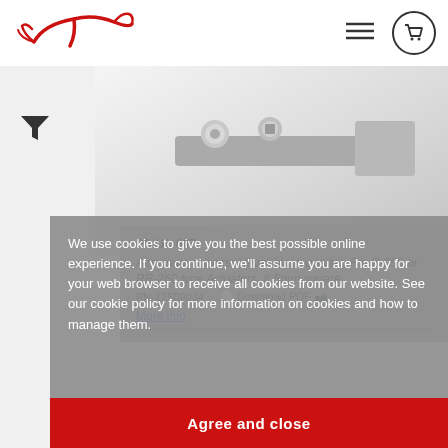[Figure (logo): Red horse/bird logo (Rotax or similar), stylized in red line art]
[Figure (photo): Product photo: aluminum lever blanks with metallic silver finish, small cylindrical and square components visible against a light grey background]
PA-UL-007
Aluminum universal lever blank quarter. For R-250 or RR-260 type Actuators, 6.5mm square.
PN-12509034
Download PDF
More info
We use cookies to give you the best possible online experience. If you continue, we'll assume you are happy for your web browser to receive all cookies from our website. See our cookie policy for more information on cookies and how to manage them.
Agree and close